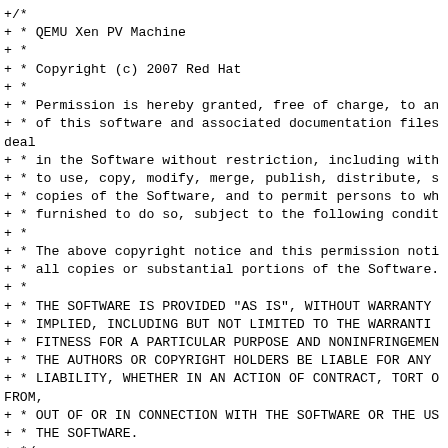+/*
+ * QEMU Xen PV Machine
+ *
+ * Copyright (c) 2007 Red Hat
+ *
+ * Permission is hereby granted, free of charge, to an
+ * of this software and associated documentation files
deal
+ * in the Software without restriction, including with
+ * to use, copy, modify, merge, publish, distribute, s
+ * copies of the Software, and to permit persons to wh
+ * furnished to do so, subject to the following condit
+ *
+ * The above copyright notice and this permission noti
+ * all copies or substantial portions of the Software.
+ *
+ * THE SOFTWARE IS PROVIDED "AS IS", WITHOUT WARRANTY
+ * IMPLIED, INCLUDING BUT NOT LIMITED TO THE WARRANTI
+ * FITNESS FOR A PARTICULAR PURPOSE AND NONINFRINGEMEN
+ * THE AUTHORS OR COPYRIGHT HOLDERS BE LIABLE FOR ANY
+ * LIABILITY, WHETHER IN AN ACTION OF CONTRACT, TORT O
FROM,
+ * OUT OF OR IN CONNECTION WITH THE SOFTWARE OR THE US
+ * THE SOFTWARE.
+ */
+
+#include "vl.h"
+#include "../../xenfb/xenfb.h"
+#include <linux/input.h>
+